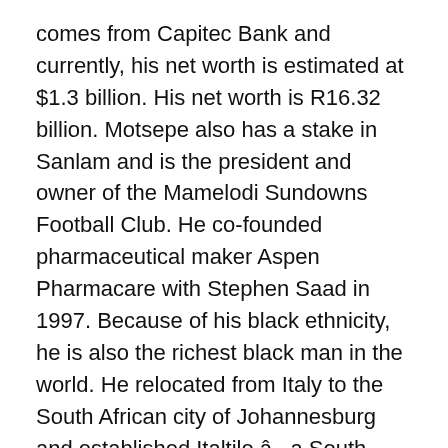comes from Capitec Bank and currently, his net worth is estimated at $1.3 billion. His net worth is R16.32 billion. Motsepe also has a stake in Sanlam and is the president and owner of the Mamelodi Sundowns Football Club. He co-founded pharmaceutical maker Aspen Pharmacare with Stephen Saad in 1997. Because of his black ethnicity, he is also the richest black man in the world. He relocated from Italy to the South African city of Johannesburg and established Italtile â a South African company concerned with ceramics. It seems that this family has done well for themselves. Koos Bekker started at M-Net, which he founded with his colleagues, which was a pay television service. In 1992, his retail company Italtile and manufacturer Ceramic Industries were listed on the Johannesburg Stock Exchange. Dippenaar is a non-executive chairman of FirstRand, which is active in banking and insurance and is active in South Africa, five other neighbouring countries and India. Labeled as one of the wealthiest South Africans, Koos